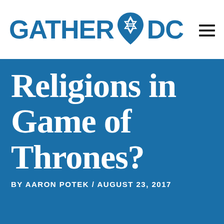[Figure (logo): Gather DC logo with star of David map pin icon between GATHER and DC text in blue]
Religions in Game of Thrones?
BY AARON POTEK / AUGUST 23, 2017